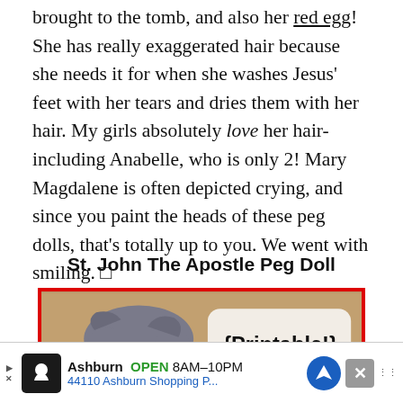brought to the tomb, and also her red egg! She has really exaggerated hair because she needs it for when she washes Jesus’ feet with her tears and dries them with her hair. My girls absolutely love her hair- including Anabelle, who is only 2! Mary Magdalene is often depicted crying, and since you paint the heads of these peg dolls, that’s totally up to you. We went with smiling. □
St. John The Apostle Peg Doll
[Figure (photo): Close-up photo of a peg doll with a round painted face showing closed eyes and dark eyebrows, with gray-brown hair painted on top. A white rounded rectangle tag with the text '{Printable!}' is overlaid on the right side. A small green and red rectangular tag is visible in the lower right corner. The image has a red border.]
Ashburn OPEN 8AM–10PM 44110 Ashburn Shopping P...